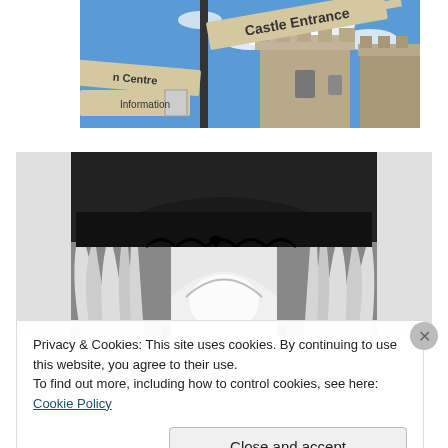[Figure (photo): Photograph looking up at castle entrance sign and tower with blue sky, partially cropped on left showing 'Centre' sign]
[Figure (photo): Black and white photograph of an ornate interior architectural feature, showing decorative ironwork and curtains viewed from below]
Privacy & Cookies: This site uses cookies. By continuing to use this website, you agree to their use.
To find out more, including how to control cookies, see here: Cookie Policy
Close and accept